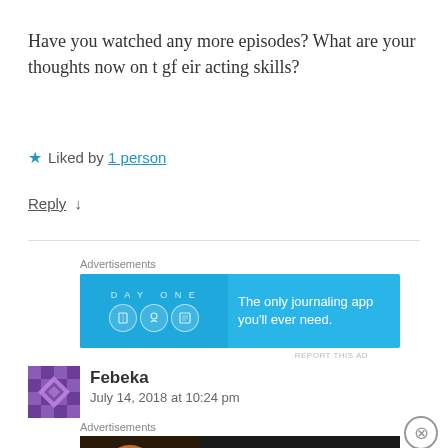Have you watched any more episodes? What are your thoughts now on t gf eir acting skills?
★ Liked by 1 person
Reply ↓
[Figure (screenshot): Day One journaling app advertisement banner — blue background with Day One logo icons and text 'The only journaling app you'll ever need.']
REPORT THIS AD
Febeka
July 14, 2018 at 10:24 pm
[Figure (screenshot): Seamless food delivery advertisement — dark background with pizza image, Seamless logo, and 'ORDER NOW' button]
REPORT THIS AD